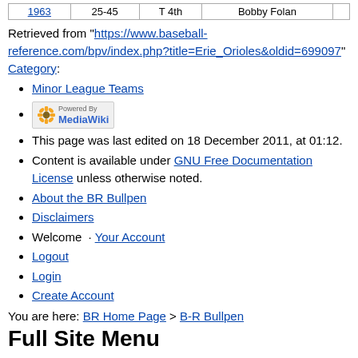|  |  |  |  |
| --- | --- | --- | --- |
| 1963 | 25-45 | T 4th | Bobby Folan |
Retrieved from "https://www.baseball-reference.com/bpv/index.php?title=Erie_Orioles&oldid=699097" Category:
Minor League Teams
[Powered By MediaWiki badge]
This page was last edited on 18 December 2011, at 01:12.
Content is available under GNU Free Documentation License unless otherwise noted.
About the BR Bullpen
Disclaimers
Welcome  · Your Account
Logout
Login
Create Account
You are here: BR Home Page > B-R Bullpen
Full Site Menu